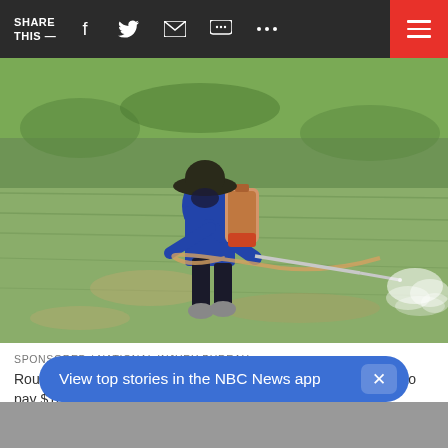SHARE THIS —
[Figure (photo): Person wearing a blue long-sleeve shirt, dark pants, and boots with a wide-brimmed hat, carrying a large backpack sprayer and spraying pesticide over a green rice paddy field.]
SPONSORED / NATIONAL INJURY BUREAU
Roundup exposure linked to Non-Hodgkin's Lymphoma. Bayer to pay $10 Billion Settlement. See if you qualify.
Jury Finds Roundup Responsible For Lyn...
View top stories in the NBC News app